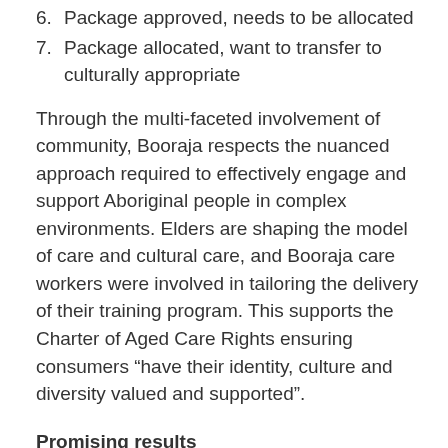6. Package approved, needs to be allocated
7. Package allocated, want to transfer to culturally appropriate
Through the multi-faceted involvement of community, Booraja respects the nuanced approach required to effectively engage and support Aboriginal people in complex environments. Elders are shaping the model of care and cultural care, and Booraja care workers were involved in tailoring the delivery of their training program. This supports the Charter of Aged Care Rights ensuring consumers “have their identity, culture and diversity valued and supported”.
Promising results
Holistic wellness is realised through development of services in partnership with the Walbanga Elders’ Council who provide insight and feedback on culturally